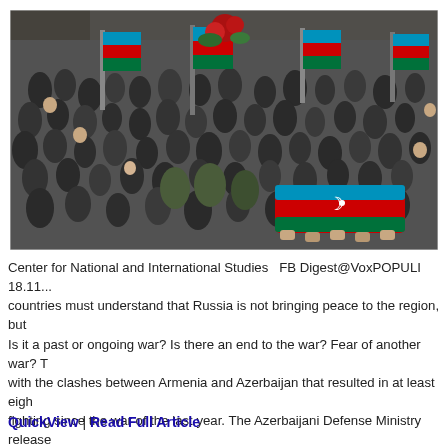[Figure (photo): Aerial/overhead view of a large crowd of people at what appears to be a funeral procession, with Azerbaijani flags (blue, red, green tricolor) being carried, and a flag-draped coffin visible being carried through the crowd.]
Center for National and International Studies   FB Digest@VoxPOPULI 18.11... countries must understand that Russia is not bringing peace to the region, but Is it a past or ongoing war? Is there an end to the war? Fear of another war? T with the clashes between Armenia and Azerbaijan that resulted in at least eigh fighting since the war of the last year. The Azerbaijani Defense Ministry release November 17 that seven Azerbaijani servicemen were killed and ten were...
QuickView | Read Full Article